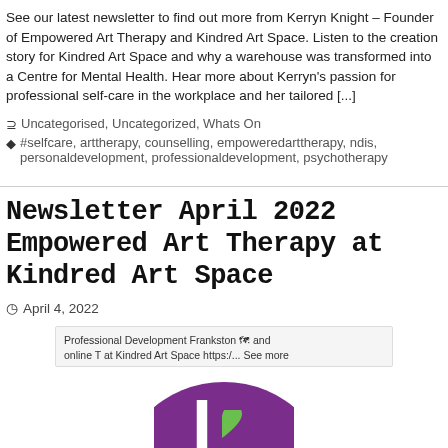See our latest newsletter to find out more from Kerryn Knight – Founder of Empowered Art Therapy and Kindred Art Space. Listen to the creation story for Kindred Art Space and why a warehouse was transformed into a Centre for Mental Health. Hear more about Kerryn's passion for professional self-care in the workplace and her tailored [...]
Uncategorised, Uncategorized, Whats On
#selfcare, arttherapy, counselling, empoweredarttherapy, ndis, personaldevelopment, professionaldevelopment, psychotherapy
Newsletter April 2022 Empowered Art Therapy at Kindred Art Space
April 4, 2022
Professional Development Frankston and online at Kindred Art Space https:/... See more
[Figure (logo): Purple circle with white letter I and green heart shape, partial view at bottom of page]